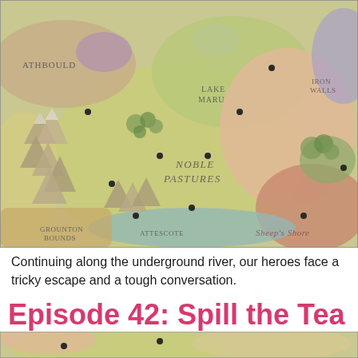[Figure (map): A fantasy world map showing regions labeled 'NOBLE PASTURES', 'LAKE MARU', 'ATHBOULD', and other partially visible region names. The map features illustrated mountains, forests, bodies of water, and location dots in a vintage cartographic style with muted yellows, greens, peach, and purple tones.]
Continuing along the underground river, our heroes face a tricky escape and a tough conversation.
Episode 42: Spill the Tea
[Figure (map): Bottom portion of the same fantasy world map, partially cropped, showing similar terrain features and coloring.]